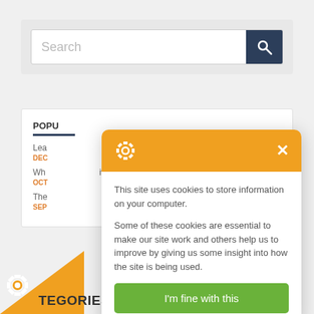[Figure (screenshot): Search bar with text input field showing placeholder 'Search' and a dark blue search button with magnifying glass icon, on a light grey background]
POPU
Lea
DEC
Wh
OCT
ive the field
The
SEP
[Figure (screenshot): Cookie consent modal dialog with orange header containing a gear/cookie icon and X close button, body text about site cookies, and a green 'I'm fine with this' button]
TEGORIES